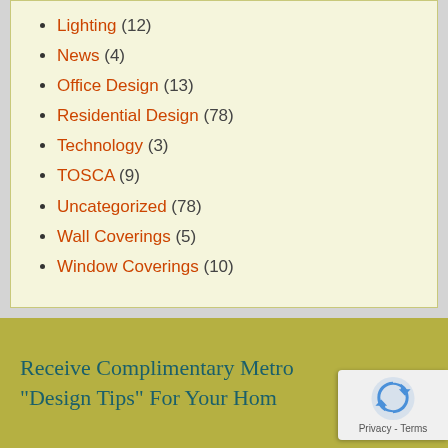Lighting (12)
News (4)
Office Design (13)
Residential Design (78)
Technology (3)
TOSCA (9)
Uncategorized (78)
Wall Coverings (5)
Window Coverings (10)
Receive Complimentary Metro "Design Tips" For Your Hom